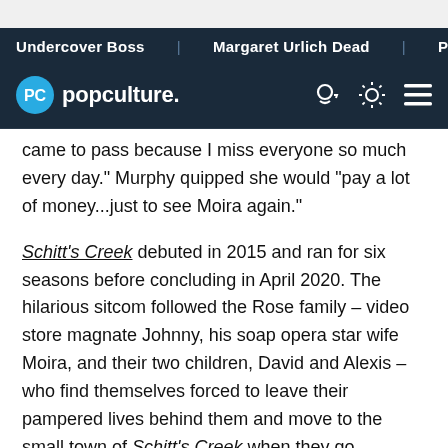Undercover Boss | Margaret Urlich Dead | Pizza John's Reca…
popculture.
came to pass because I miss everyone so much every day." Murphy quipped she would "pay a lot of money...just to see Moira again."
Schitt's Creek debuted in 2015 and ran for six seasons before concluding in April 2020. The hilarious sitcom followed the Rose family – video store magnate Johnny, his soap opera star wife Moira, and their two children, David and Alexis – who find themselves forced to leave their pampered lives behind them and move to the small town of Schitt's Creek when they go completely broke. The series was a massive success and earned numerous awards, and…